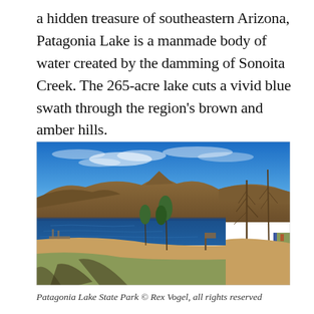a hidden treasure of southeastern Arizona, Patagonia Lake is a manmade body of water created by the damming of Sonoita Creek. The 265-acre lake cuts a vivid blue swath through the region's brown and amber hills.
[Figure (photo): Outdoor photograph of Patagonia Lake State Park showing a sandy beach area in the foreground with tree shadows, a calm blue lake in the middle ground, brown hills and a peaked mountain in the background under a vivid blue sky with light clouds. Bare trees are visible on the right side.]
Patagonia Lake State Park © Rex Vogel, all rights reserved